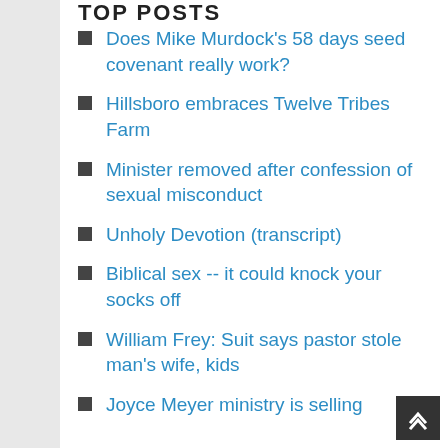TOP POSTS
Does Mike Murdock's 58 days seed covenant really work?
Hillsboro embraces Twelve Tribes Farm
Minister removed after confession of sexual misconduct
Unholy Devotion (transcript)
Biblical sex -- it could knock your socks off
William Frey: Suit says pastor stole man's wife, kids
Joyce Meyer ministry is selling